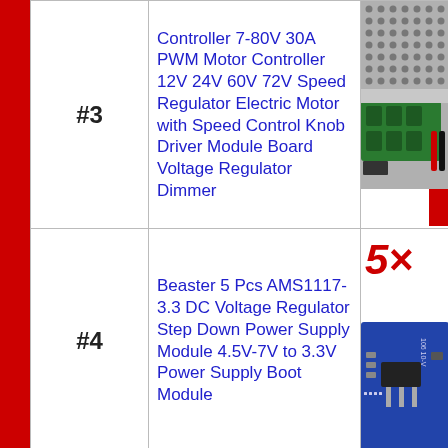| # | Rank | Product Name | Image |
| --- | --- | --- | --- |
| #3 | Controller 7-80V 30A PWM Motor Controller 12V 24V 60V 72V Speed Regulator Electric Motor with Speed Control Knob Driver Module Board Voltage Regulator Dimmer | [product image] |
| #4 | Beaster 5 Pcs AMS1117-3.3 DC Voltage Regulator Step Down Power Supply Module 4.5V-7V to 3.3V Power Supply Boot Module | [product image with 5x label] |